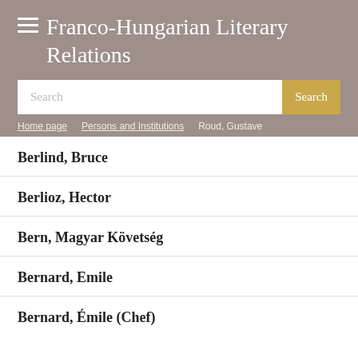≡ Franco-Hungarian Literary Relations
Search
Home page > Persons and Institutions > Roud, Gustave
Berlind, Bruce
Berlioz, Hector
Bern, Magyar Követség
Bernard, Emile
Bernard, Émile (Chef)